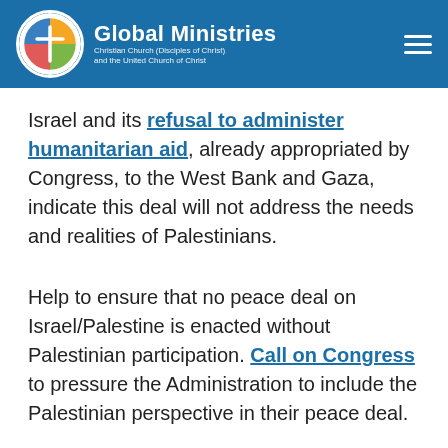Global Ministries – Christian Church (Disciples of Christ) and the United Church of Christ
Israel and its refusal to administer humanitarian aid, already appropriated by Congress, to the West Bank and Gaza, indicate this deal will not address the needs and realities of Palestinians.
Help to ensure that no peace deal on Israel/Palestine is enacted without Palestinian participation. Call on Congress to pressure the Administration to include the Palestinian perspective in their peace deal.